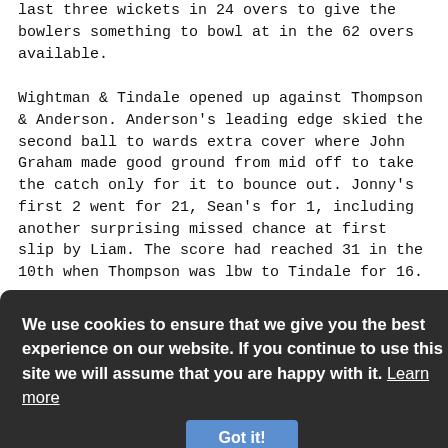last three wickets in 24 overs to give the bowlers something to bowl at in the 62 overs available.
Wightman & Tindale opened up against Thompson & Anderson. Anderson's leading edge skied the second ball to wards extra cover where John Graham made good ground from mid off to take the catch only for it to bounce out. Jonny's first 2 went for 21, Sean's for 1, including another surprising missed chance at first slip by Liam. The score had reached 31 in the 10th when Thompson was lbw to Tindale for 16.
Crozier replaced Wightman & in his second over persuaded Anderson to mistimed a drive to mid on where Trevaskis held a straight & Gidman, the right hander, lost no opportunity to score but at 69 Carr (22) was held by w/k Peyton off a bottom edge, trying to force Trevaskis's slow left arm. This became 80-4 when the left handed, Gidman lobbed to Cragg at mid wicket as one from Trevaskis bounced.
We use cookies to ensure that we give you the best experience on our website. If you continue to use this site we will assume that you are happy with it. Learn more
Got it!